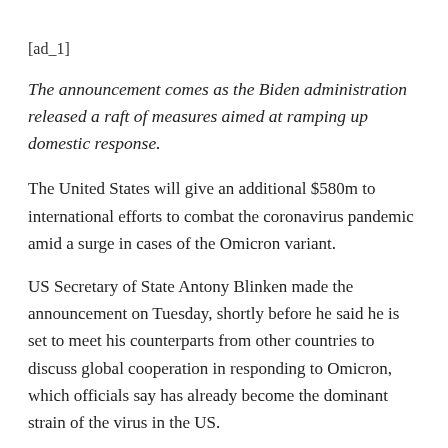[ad_1]
The announcement comes as the Biden administration released a raft of measures aimed at ramping up domestic response.
The United States will give an additional $580m to international efforts to combat the coronavirus pandemic amid a surge in cases of the Omicron variant.
US Secretary of State Antony Blinken made the announcement on Tuesday, shortly before he said he is set to meet his counterparts from other countries to discuss global cooperation in responding to Omicron, which officials say has already become the dominant strain of the virus in the US.